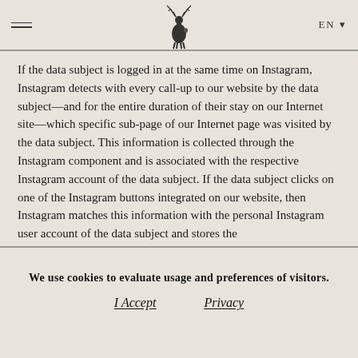EN ▾ [deer logo]
If the data subject is logged in at the same time on Instagram, Instagram detects with every call-up to our website by the data subject—and for the entire duration of their stay on our Internet site—which specific sub-page of our Internet page was visited by the data subject. This information is collected through the Instagram component and is associated with the respective Instagram account of the data subject. If the data subject clicks on one of the Instagram buttons integrated on our website, then Instagram matches this information with the personal Instagram user account of the data subject and stores the
We use cookies to evaluate usage and preferences of visitors.
I Accept        Privacy